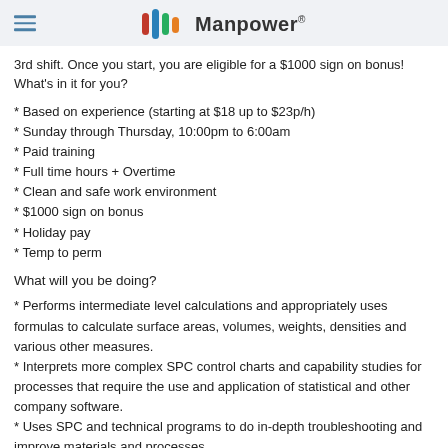Manpower
3rd shift. Once you start, you are eligible for a $1000 sign on bonus! What's in it for you?
* Based on experience (starting at $18 up to $23p/h)
* Sunday through Thursday, 10:00pm to 6:00am
* Paid training
* Full time hours + Overtime
* Clean and safe work environment
* $1000 sign on bonus
* Holiday pay
* Temp to perm
What will you be doing?
* Performs intermediate level calculations and appropriately uses formulas to calculate surface areas, volumes, weights, densities and various other measures.
* Interprets more complex SPC control charts and capability studies for processes that require the use and application of statistical and other company software.
* Uses SPC and technical programs to do in-depth troubleshooting and improve materials and processes.
* Performs shrinkage/characterization testing (i.e. moisture, slip weight,